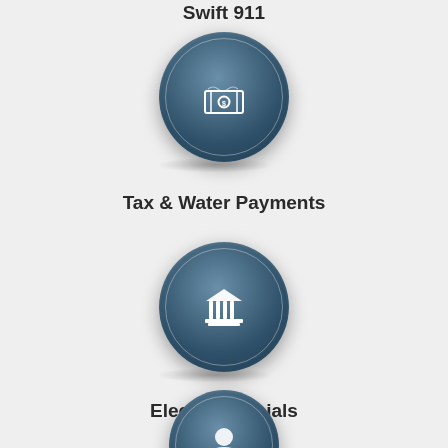Swift 911
[Figure (illustration): 3D blue circular button icon with a money/dollar bill icon in white center]
Tax & Water Payments
[Figure (illustration): 3D blue circular button icon with a government/institutional building (columns) icon in white center]
Elected Officials
[Figure (illustration): 3D blue circular button icon (partially visible at bottom)]